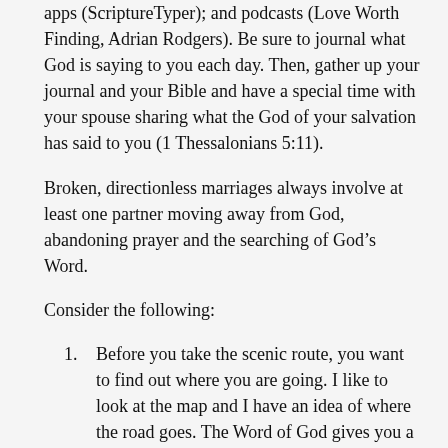apps (ScriptureTyper); and podcasts (Love Worth Finding, Adrian Rodgers).  Be sure to journal what God is saying to you each day.  Then, gather up your journal and your Bible and have a special time with your spouse sharing what the God of your salvation has said to you (1 Thessalonians 5:11).
Broken, directionless marriages always involve at least one partner moving away from God, abandoning prayer and the searching of God’s Word.
Consider the following:
Before you take the scenic route, you want to find out where you are going. I like to look at the map and I have an idea of where the road goes. The Word of God gives you a picture in your mind the roads and lay of the land in marriage. The Word of God always keeps you on the right road
Sometimes on the scenic route, you let your